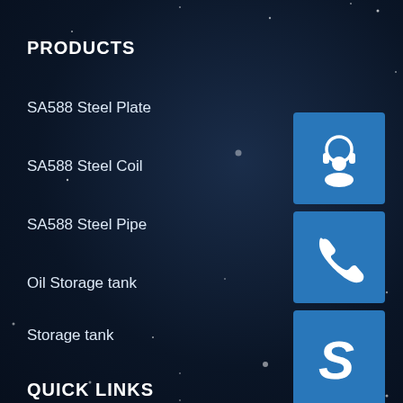PRODUCTS
SA588 Steel Plate
SA588 Steel Coil
SA588 Steel Pipe
Oil Storage tank
Storage tank
Solutions
Case
News
[Figure (illustration): Customer support icon - person with headset on blue square background]
[Figure (illustration): Phone call icon on blue square background]
[Figure (illustration): Skype icon (S logo) on blue square background]
QUICK LINKS